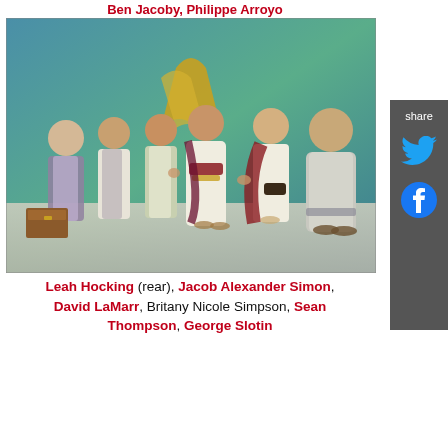Ben Jacoby, Philippe Arroyo
[Figure (photo): Theater performance photo showing six actors in ancient Roman costumes on a stage. From left: a woman in purple/gray draped costume (rear), a shorter figure in white and gray, a third figure in green and white, a central woman in white dress with red/gold belt and purple sash (arms extended expressively), a man in white tunic with red cape and black belt, and a large man in gray robe on the far right. Stage has a blue-green background with a stylized yellow/gold decorative element.]
Leah Hocking (rear), Jacob Alexander Simon, David LaMarr, Britany Nicole Simpson, Sean Thompson, George Slotin